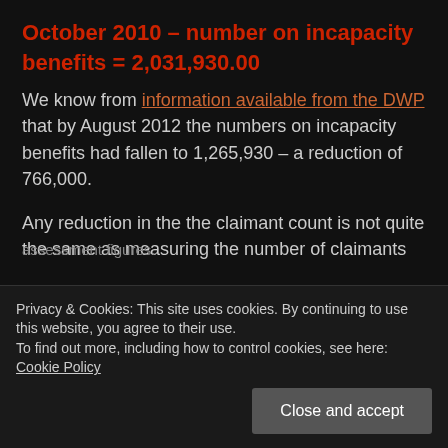October 2010 – number on incapacity benefits = 2,031,930.00
We know from information available from the DWP that by August 2012 the numbers on incapacity benefits had fallen to 1,265,930 – a reduction of 766,000.
Any reduction in the the claimant count is not quite the same as measuring the number of claimants
assessment figures.
Privacy & Cookies: This site uses cookies. By continuing to use this website, you agree to their use.
To find out more, including how to control cookies, see here: Cookie Policy